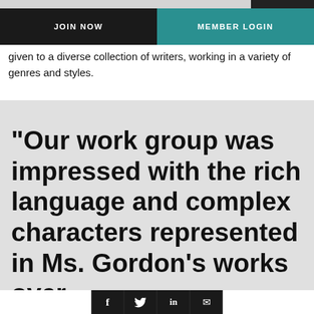JOIN NOW | MEMBER LOGIN
given to a diverse collection of writers, working in a variety of genres and styles.
"Our work group was impressed with the rich language and complex characters represented in Ms. Gordon's works over
Social icons: Facebook, Twitter, LinkedIn, Email